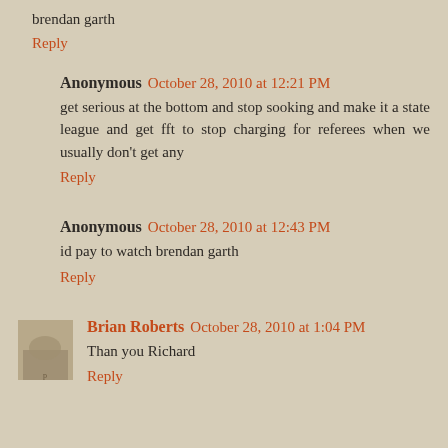brendan garth
Reply
Anonymous  October 28, 2010 at 12:21 PM
get serious at the bottom and stop sooking and make it a state league and get fft to stop charging for referees when we usually don't get any
Reply
Anonymous  October 28, 2010 at 12:43 PM
id pay to watch brendan garth
Reply
Brian Roberts  October 28, 2010 at 1:04 PM
Than you Richard
Reply